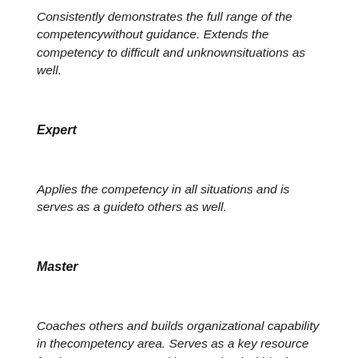Consistently demonstrates the full range of the competencywithout guidance. Extends the competency to difficult and unknownsituations as well.
Expert
Applies the competency in all situations and is serves as a guideto others as well.
Master
Coaches others and builds organizational capability in thecompetency area. Serves as a key resource for that competency and isrecognised within the entire organization.